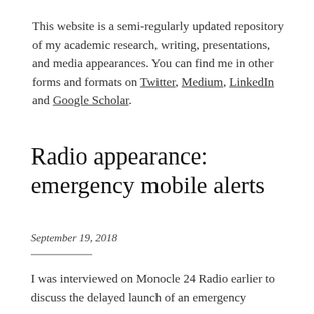This website is a semi-regularly updated repository of my academic research, writing, presentations, and media appearances. You can find me in other forms and formats on Twitter, Medium, LinkedIn and Google Scholar.
Radio appearance: emergency mobile alerts
September 19, 2018
I was interviewed on Monocle 24 Radio earlier to discuss the delayed launch of an emergency